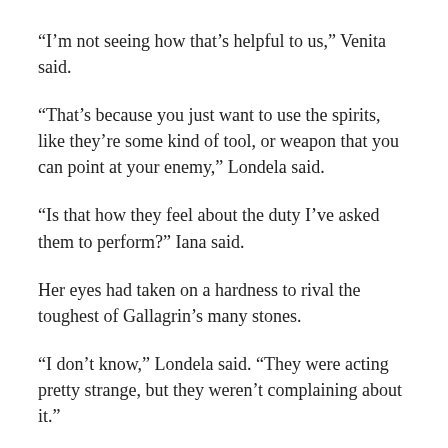“I’m not seeing how that’s helpful to us,” Venita said.
“That’s because you just want to use the spirits, like they’re some kind of tool, or weapon that you can point at your enemy,” Londela said.
“Is that how they feel about the duty I’ve asked them to perform?” Iana said.
Her eyes had taken on a hardness to rival the toughest of Gallagrin’s many stones.
“I don’t know,” Londela said. “They were acting pretty strange, but they weren’t complaining about it.”
“Can you ask them?” Iana asked, her body rigid with a tension that Londela couldn’t understand.